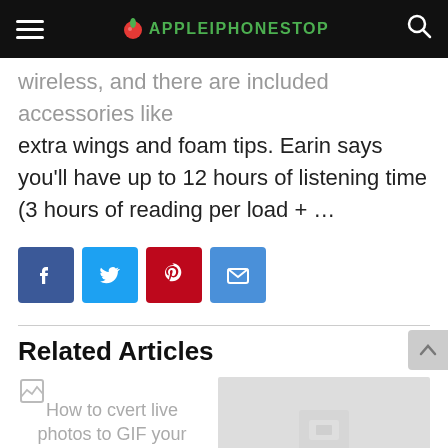APPLEIPHONESTOP
...wireless, and there are included accessories like extra wings and foam tips. Earin says you'll have up to 12 hours of listening time (3 hours of reading per load + ...
[Figure (infographic): Social share buttons: Facebook (dark blue), Twitter (light blue), Pinterest (red), Email (blue)]
Related Articles
How to cvert live photos to GIF your iPhone 6s or 6s Plus
[Figure (photo): Thumbnail image placeholder for a related article]